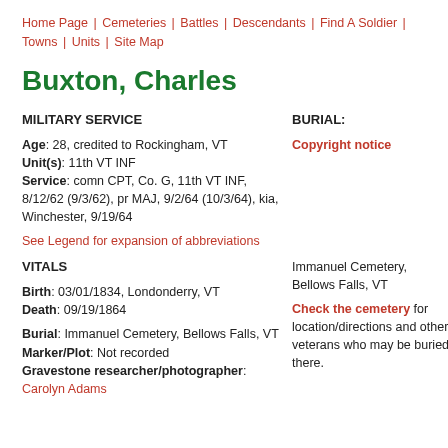Home Page | Cemeteries | Battles | Descendants | Find A Soldier | Towns | Units | Site Map
Buxton, Charles
MILITARY SERVICE
Age: 28, credited to Rockingham, VT
Unit(s): 11th VT INF
Service: comn CPT, Co. G, 11th VT INF, 8/12/62 (9/3/62), pr MAJ, 9/2/64 (10/3/64), kia, Winchester, 9/19/64
See Legend for expansion of abbreviations
VITALS
Birth: 03/01/1834, Londonderry, VT
Death: 09/19/1864
Burial: Immanuel Cemetery, Bellows Falls, VT
Marker/Plot: Not recorded
Gravestone researcher/photographer: Carolyn Adams
BURIAL:
Copyright notice
Immanuel Cemetery, Bellows Falls, VT
Check the cemetery for location/directions and other veterans who may be buried there.